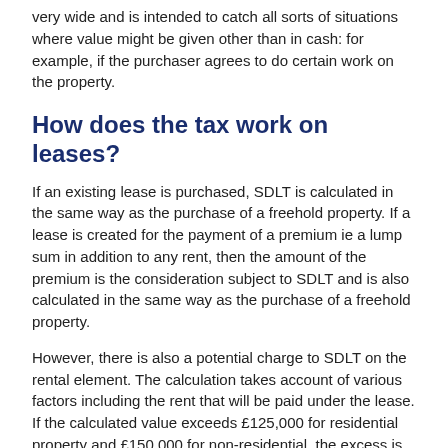very wide and is intended to catch all sorts of situations where value might be given other than in cash: for example, if the purchaser agrees to do certain work on the property.
How does the tax work on leases?
If an existing lease is purchased, SDLT is calculated in the same way as the purchase of a freehold property. If a lease is created for the payment of a premium ie a lump sum in addition to any rent, then the amount of the premium is the consideration subject to SDLT and is also calculated in the same way as the purchase of a freehold property.
However, there is also a potential charge to SDLT on the rental element. The calculation takes account of various factors including the rent that will be paid under the lease. If the calculated value exceeds £125,000 for residential property and £150,000 for non-residential, the excess is charged at 1%.
A 2% rate applies to rent paid under a non-residential lease where the NPV of the rent is above £5 million.